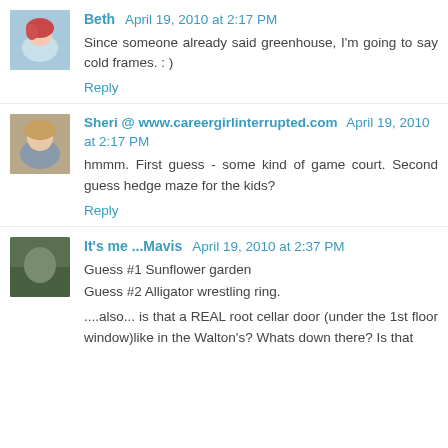Beth April 19, 2010 at 2:17 PM
Since someone already said greenhouse, I'm going to say cold frames. : )
Reply
Sheri @ www.careergirlinterrupted.com April 19, 2010 at 2:17 PM
hmmm. First guess - some kind of game court. Second guess hedge maze for the kids?
Reply
It's me ...Mavis April 19, 2010 at 2:37 PM
Guess #1 Sunflower garden
Guess #2 Alligator wrestling ring.

....also... is that a REAL root cellar door (under the 1st floor window)like in the Walton's? Whats down there? Is that